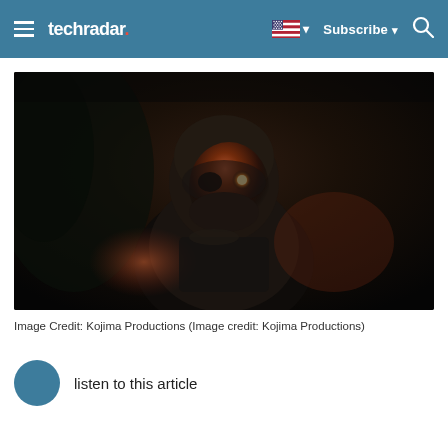techradar | Subscribe | Search
[Figure (photo): Dark cinematic screenshot of an armored figure with glowing eye from a video game, likely from Kojima Productions. The figure appears to be in tactical/military armor in a dark, moody environment.]
Image Credit: Kojima Productions (Image credit: Kojima Productions)
listen to this article